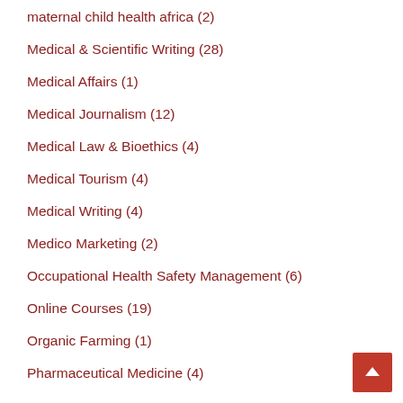maternal child health africa (2)
Medical & Scientific Writing (28)
Medical Affairs (1)
Medical Journalism (12)
Medical Law & Bioethics (4)
Medical Tourism (4)
Medical Writing (4)
Medico Marketing (2)
Occupational Health Safety Management (6)
Online Courses (19)
Organic Farming (1)
Pharmaceutical Medicine (4)